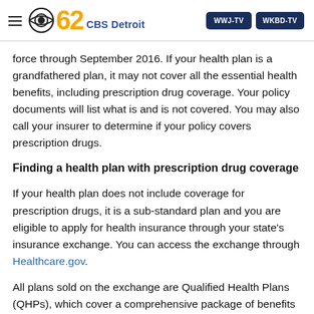CBS 62 CBS Detroit | WWJ-TV | WKBD-TV
force through September 2016. If your health plan is a grandfathered plan, it may not cover all the essential health benefits, including prescription drug coverage. Your policy documents will list what is and is not covered. You may also call your insurer to determine if your policy covers prescription drugs.
Finding a health plan with prescription drug coverage
If your health plan does not include coverage for prescription drugs, it is a sub-standard plan and you are eligible to apply for health insurance through your state's insurance exchange. You can access the exchange through Healthcare.gov.
All plans sold on the exchange are Qualified Health Plans (QHPs), which cover a comprehensive package of benefits including…